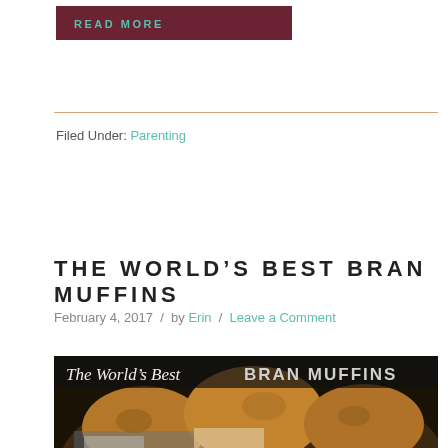READ MORE
Filed Under: Parenting
THE WORLD'S BEST BRAN MUFFINS
February 4, 2017  /  by Erin  /  Leave a Comment
[Figure (photo): Photo of bran muffins with text overlay reading 'The World's Best BRAN MUFFINS']